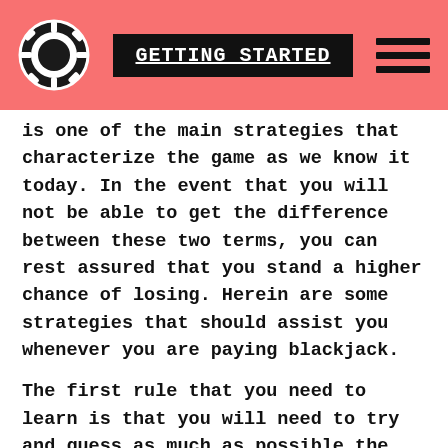GETTING STARTED
is one of the main strategies that characterize the game as we know it today. In the event that you will not be able to get the difference between these two terms, you can rest assured that you stand a higher chance of losing. Herein are some strategies that should assist you whenever you are paying blackjack.
The first rule that you need to learn is that you will need to try and guess as much as possible the cards that have been hidden away from you. In the event that the dealer has a K, J, Q or even a 10 you should already know that they either have a 21 or a 20. This therefore gives you an upper hand as you go about the